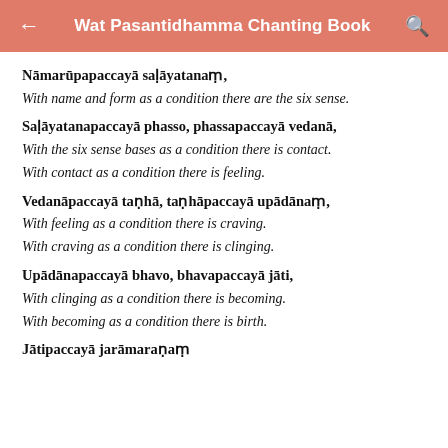Wat Pasantidhamma Chanting Book
Nāmarūpapaccayā saḷāyatanaṃ,
With name and form as a condition there are the six sense.
Saḷāyatanapaccayā phasso, phassapaccayā vedanā,
With the six sense bases as a condition there is contact.
With contact as a condition there is feeling.
Vedanāpaccayā taṇhā, taṇhāpaccayā upādānaṃ,
With feeling as a condition there is craving.
With craving as a condition there is clinging.
Upādānapaccayā bhavo, bhavapaccayā jāti,
With clinging as a condition there is becoming.
With becoming as a condition there is birth.
Jātipaccayā jarāmaraṇaṃ